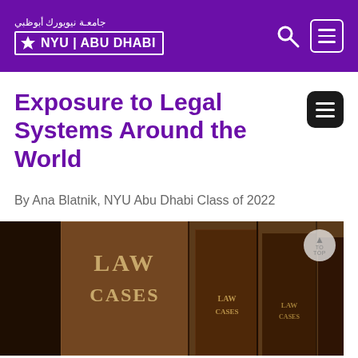جامعة نيويورك أبوظبي | NYU ABU DHABI
Exposure to Legal Systems Around the World
By Ana Blatnik, NYU Abu Dhabi Class of 2022
[Figure (photo): Shelf of law books with spines reading 'LAW CASES']